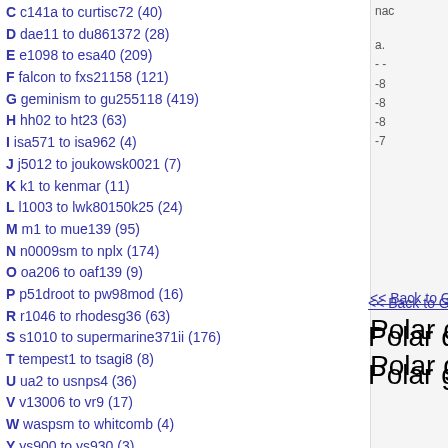C c141a to curtisc72 (40)
D dae11 to du861372 (28)
E e1098 to esa40 (209)
F falcon to fxs21158 (121)
G geminism to gu255118 (419)
H hh02 to ht23 (63)
I isa571 to isa962 (4)
J j5012 to joukowsk0021 (7)
K k1 to kenmar (11)
L l1003 to lwk80150k25 (24)
M m1 to mue139 (95)
N n0009sm to nplx (174)
O oa206 to oaf139 (9)
P p51droot to pw98mod (16)
R r1046 to rhodesg36 (63)
S s1010 to supermarine371ii (176)
T tempest1 to tsagi8 (8)
U ua2 to usnps4 (36)
V v13006 to vr9 (17)
W waspsm to whitcomb (4)
Y ys900 to ys930 (3)
List of all airfoils
Site
Home
Contact
Privacy Policy
<< Back to GOE 681 AIRFOIL (goe681-il)
Polar data table (+)
Polar graphs